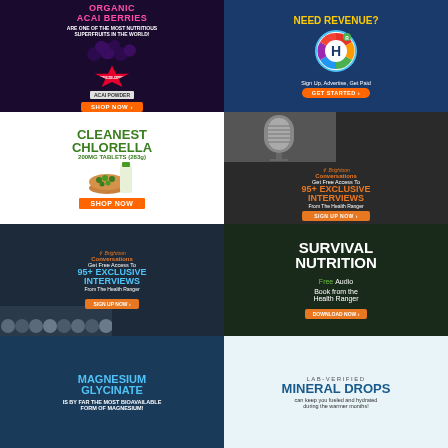[Figure (illustration): Organic Acai Berries advertisement - dark purple background with pink text 'ORGANIC ACAI BERRIES ARE ONE OF THE MOST NUTRITIOUS SUPERFRUITS IN THE WORLD!', freeze-dried badge, acai powder product, SHOP NOW button]
[Figure (illustration): Need Revenue? advertisement - blue background with yellow text, Healtheon H logo circle, 'Sign Up, Advertise, Get Paid', orange GET STARTED button]
[Figure (illustration): Cleanest Chlorella 200MG Tablets (283g) advertisement - white background with green text, chlorella product image, orange SHOP NOW button]
[Figure (illustration): Brighteon Conversations advertisement - dark background, microphone photo, orange '95+ EXCLUSIVE INTERVIEWS From The Health Ranger', SIGN UP NOW button]
[Figure (illustration): Brighteon Conversations advertisement - dark blue background, '95+ EXCLUSIVE INTERVIEWS From The Health Ranger', crowd of faces, SIGN UP NOW button]
[Figure (illustration): Survival Nutrition - Free Audio Book from the Health Ranger advertisement - dark green background, DOWNLOAD NOW button]
[Figure (illustration): Magnesium Glycinate advertisement - dark blue background with cyan text, 'IS BY FAR THE MOST BIOAVAILABLE FORM OF MAGNESIUM!']
[Figure (illustration): Lab-Verified Mineral Drops advertisement - light blue background, 'can keep you fueled and hydrated during the warmer months!']